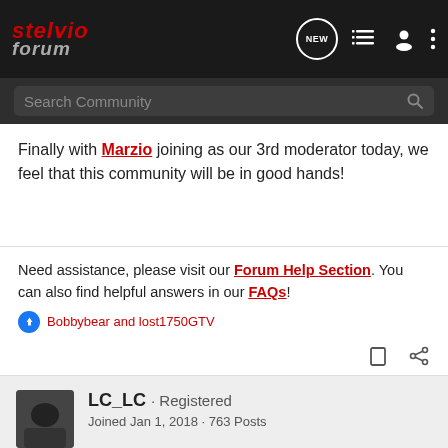stelvio forum
Finally with Marzio joining as our 3rd moderator today, we feel that this community will be in good hands!
Need assistance, please visit our Forum Help Section. You can also find helpful answers in our FAQs!
Bobbybear and lost1750GTV
LC_LC · Registered
Joined Jan 1, 2018 · 763 Posts
#18 · Feb 26, 2018